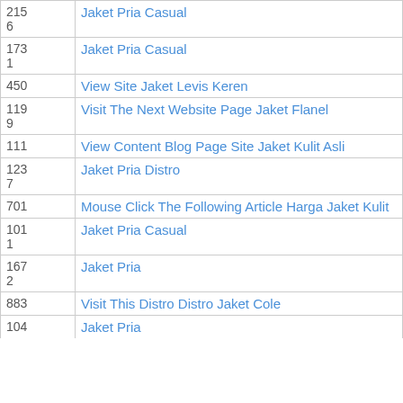| 215
6 | Jaket Pria Casual |
| 173
1 | Jaket Pria Casual |
| 450 | View Site Jaket Levis Keren |
| 119
9 | Visit The Next Website Page Jaket Flanel |
| 111 | View Content Blog Page Site Jaket Kulit Asli |
| 123
7 | Jaket Pria Distro |
| 701 | Mouse Click The Following Article Harga Jaket Kulit |
| 101
1 | Jaket Pria Casual |
| 167
2 | Jaket Pria |
| 883 | Visit This Distro Distro Jaket Cole |
| 104 | Jaket Pria… |